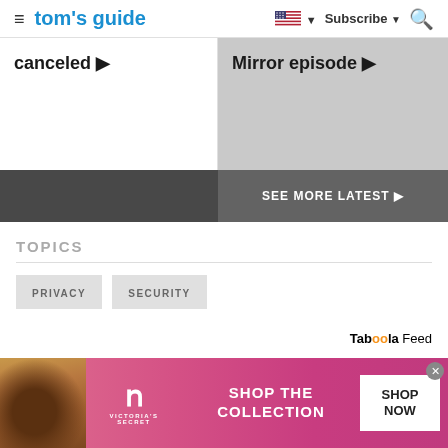tom's guide — Subscribe
canceled ▶
Mirror episode ▶
SEE MORE LATEST ▶
TOPICS
PRIVACY
SECURITY
Taboola Feed
[Figure (photo): Victoria's Secret advertisement banner with model, VS logo, SHOP THE COLLECTION text, and SHOP NOW CTA button]